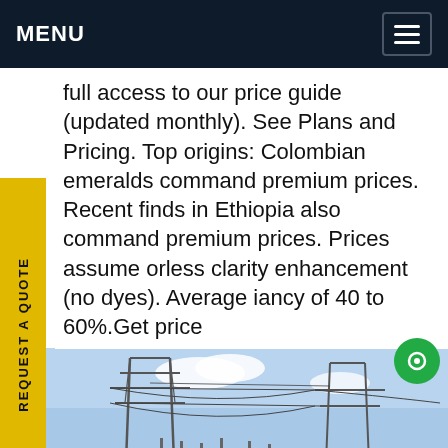MENU
full access to our price guide (updated monthly). See Plans and Pricing. Top origins: Colombian emeralds command premium prices. Recent finds in Ethiopia also command premium prices. Prices assume orless clarity enhancement (no dyes). Average iancy of 40 to 60%.Get price
[Figure (photo): Electrical power substation with transmission towers, power lines, transformers and equipment, fenced perimeter, under blue sky.]
REQUEST A QUOTE